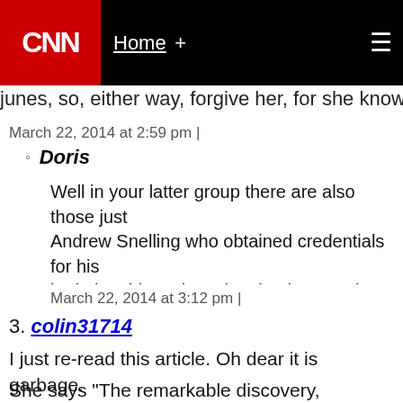CNN | Home +
junes, so, either way, forgive her, for she knows not
March 22, 2014 at 2:59 pm |
Doris
Well in your latter group there are also those just... Andrew Snelling who obtained credentials for his... in dating things, but who simultaneously worked... earth" groups. Only he can answer why he sells t
March 22, 2014 at 3:12 pm |
3. colin31714
I just re-read this article. Oh dear it is garbage.
She says “The remarkable discovery, announced this w... space-time fabric of the universe rocked the world of... religion.”
Uh, not really. Ripples in space time have already bee... violent events, such as stars collapsing into black hole